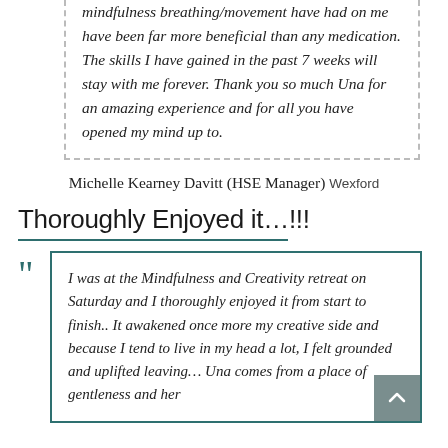mindfulness breathing/movement have had on me have been far more beneficial than any medication. The skills I have gained in the past 7 weeks will stay with me forever. Thank you so much Una for an amazing experience and for all you have opened my mind up to.
Michelle Kearney Davitt (HSE Manager) Wexford
Thoroughly Enjoyed it…!!!
I was at the Mindfulness and Creativity retreat on Saturday and I thoroughly enjoyed it from start to finish.. It awakened once more my creative side and because I tend to live in my head a lot, I felt grounded and uplifted leaving… Una comes from a place of gentleness and her